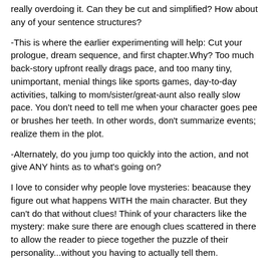really overdoing it. Can they be cut and simplified? How about any of your sentence structures?
-This is where the earlier experimenting will help: Cut your prologue, dream sequence, and first chapter.Why? Too much back-story upfront really drags pace, and too many tiny, unimportant, menial things like sports games, day-to-day activities, talking to mom/sister/great-aunt also really slow pace. You don't need to tell me when your character goes pee or brushes her teeth. In other words, don't summarize events; realize them in the plot.
-Alternately, do you jump too quickly into the action, and not give ANY hints as to what's going on?
I love to consider why people love mysteries: beacause they figure out what happens WITH the main character. But they can't do that without clues! Think of your characters like the mystery: make sure there are enough clues scattered in there to allow the reader to piece together the puzzle of their personality...without you having to actually tell them.
-Of course, the best way to improve pacing is to go back and